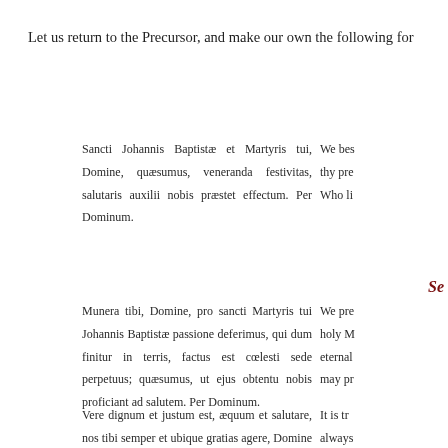Let us return to the Precursor, and make our own the following for
Sancti Johannis Baptistæ et Martyris tui, Domine, quæsumus, veneranda festivitas, salutaris auxilii nobis præstet effectum. Per Dominum.
We beseech thee, O Lord, that the venerable solemnity of thy pre... Who li...
Se
Munera tibi, Domine, pro sancti Martyris tui Johannis Baptistæ passione deferimus, qui dum finitur in terris, factus est cœlesti sede perpetuus; quæsumus, ut ejus obtentu nobis proficiant ad salutem. Per Dominum.
We pre... holy M... eternal... may pr...
Vere dignum et justum est, æquum et salutare, nos tibi semper et ubique gratias agere, Domine sancte, Pater
It is tr... always